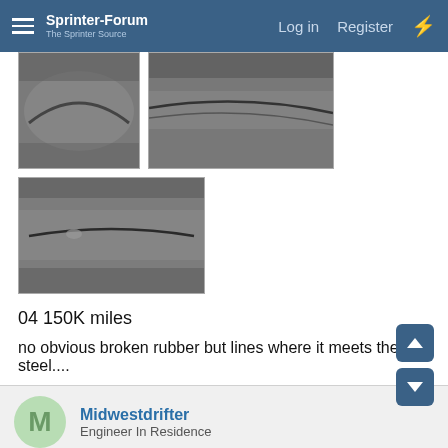Sprinter-Forum | The Sprinter Source — Log in  Register
[Figure (photo): Close-up photo of rubber meeting steel on a vehicle component, left image]
[Figure (photo): Close-up photo of rubber meeting steel on a vehicle component, right image]
[Figure (photo): Close-up photo of rubber/seal meeting metal, third image]
04 150K miles
no obvious broken rubber but lines where it meets the steel....
Midwestdrifter
Engineer In Residence
Jun 23, 2016
My sprinter with 100k miles shows a bit of what you have. It is really well attached still though...